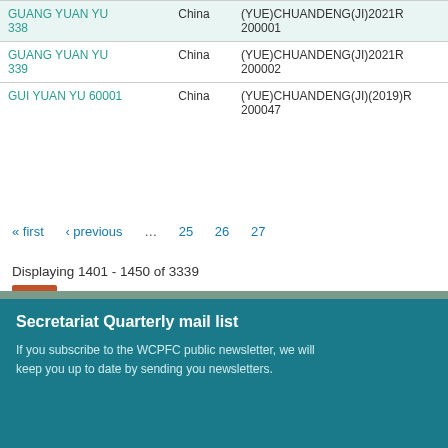| Vessel Name | Flag | Licence Number |
| --- | --- | --- |
| GUANG YUAN YU 338 | China | (YUE)CHUANDENG(JI)2021R200001 |
| GUANG YUAN YU 339 | China | (YUE)CHUANDENG(JI)2021R200002 |
| GUI YUAN YU 60001 | China | (YUE)CHUANDENG(JI)(2019)R200047 |
« first   ‹ previous   ...   25   26   27
Displaying 1401 - 1450 of 3339
Secretariat Quarterly mail list
If you subscribe to the WCPFC public newsletter, we will keep you up to date by sending you newsletters.